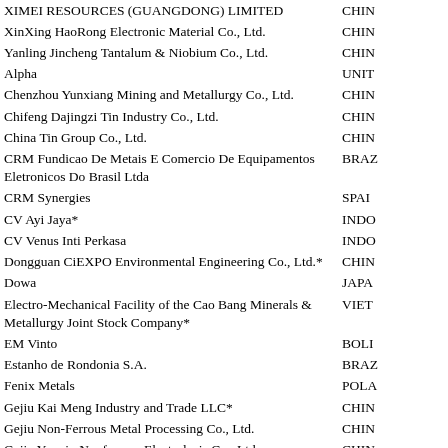| Company Name | Country |
| --- | --- |
| XIMEI RESOURCES (GUANGDONG) LIMITED | CHINA |
| XinXing HaoRong Electronic Material Co., Ltd. | CHINA |
| Yanling Jincheng Tantalum & Niobium Co., Ltd. | CHINA |
| Alpha | UNITED STATES |
| Chenzhou Yunxiang Mining and Metallurgy Co., Ltd. | CHINA |
| Chifeng Dajingzi Tin Industry Co., Ltd. | CHINA |
| China Tin Group Co., Ltd. | CHINA |
| CRM Fundicao De Metais E Comercio De Equipamentos Eletronicos Do Brasil Ltda | BRAZIL |
| CRM Synergies | SPAIN |
| CV Ayi Jaya* | INDONESIA |
| CV Venus Inti Perkasa | INDONESIA |
| Dongguan CiEXPO Environmental Engineering Co., Ltd.* | CHINA |
| Dowa | JAPAN |
| Electro-Mechanical Facility of the Cao Bang Minerals & Metallurgy Joint Stock Company* | VIETNAM |
| EM Vinto | BOLIVIA |
| Estanho de Rondonia S.A. | BRAZIL |
| Fenix Metals | POLAND |
| Gejiu Kai Meng Industry and Trade LLC* | CHINA |
| Gejiu Non-Ferrous Metal Processing Co., Ltd. | CHINA |
| Gejiu Yunxin Nonferrous Electrolysis Co., Ltd. | CHINA |
| Gejiu Zili Mining And Metallurgy Co., Ltd. | CHINA |
| Guangdong Hanhe Non-Ferrous Metal Co., Ltd. | CHINA |
| HuiChang Hill Tin Industry Co., Ltd. | CHINA |
| Jiangxi New Nanshan Technology Ltd. | CHINA |
| Ma'anshan Weitai Tin Co., Ltd. | CHINA |
| Magnu's Minerais Metais e Ligas Ltda. | BRAZIL |
| Malaysia Smelting Corporation (MSC) | MALAYSIA |